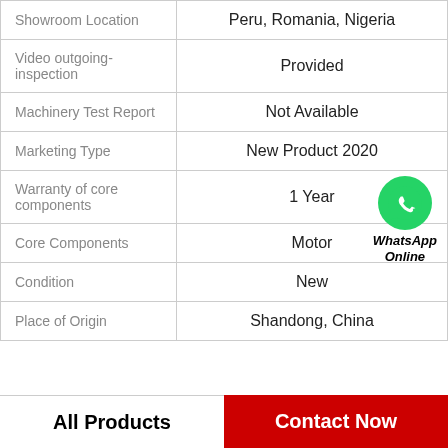| Field | Value |
| --- | --- |
| Showroom Location | Peru, Romania, Nigeria |
| Video outgoing-inspection | Provided |
| Machinery Test Report | Not Available |
| Marketing Type | New Product 2020 |
| Warranty of core components | 1 Year |
| Core Components | Motor |
| Condition | New |
| Place of Origin | Shandong, China |
All Products
Contact Now